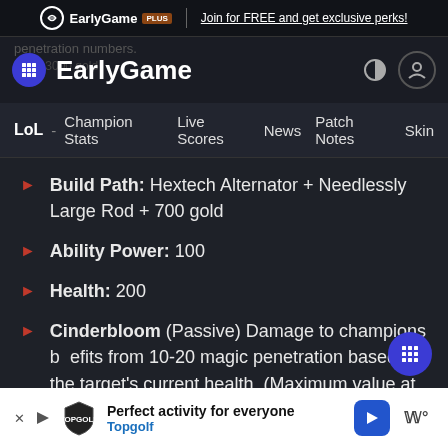EarlyGame PLUS | Join for FREE and get exclusive perks!
EarlyGame
LoL - Champion Stats  Live Scores  News  Patch Notes  Skin
Build Path: Hextech Alternator + Needlessly Large Rod + 700 gold
Ability Power: 100
Health: 200
Cinderbloom (Passive) Damage to champions benefits from 10-20 magic penetration based on the target's current health. (Maximum value at 1000 or less health, minimum value at 2500 or more health.) Gains the maximum magic penetration if the target was recently...
[Figure (screenshot): Advertisement banner: Perfect activity for everyone - Topgolf]